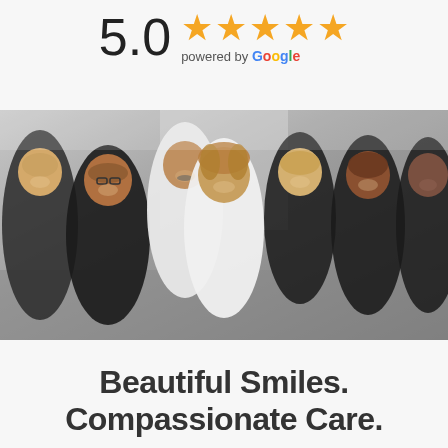5.0 ★★★★★ powered by Google
[Figure (photo): Group photo of seven dental office staff members, two in white lab coats and five in black scrubs, smiling in a hallway]
Beautiful Smiles. Compassionate Care.